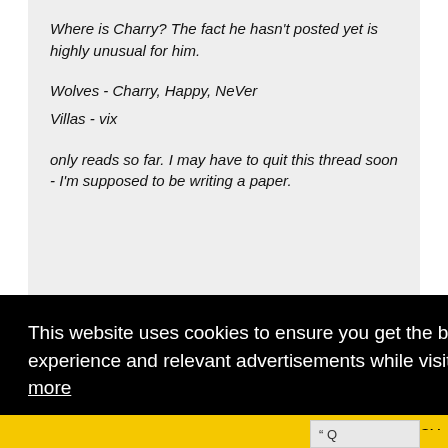Where is Charry? The fact he hasn't posted yet is highly unusual for him.
Wolves - Charry, Happy, NeVer
Villas - vix
only reads so far. I may have to quit this thread soon - I'm supposed to be writing a paper.
This website uses cookies to ensure you get the best experience and relevant advertisements while visiting.  Learn more
Got it!
day